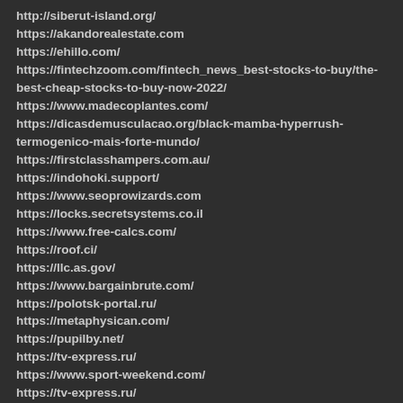http://siberut-island.org/
https://akandorealestate.com
https://ehillo.com/
https://fintechzoom.com/fintech_news_best-stocks-to-buy/the-best-cheap-stocks-to-buy-now-2022/
https://www.madecoplantes.com/
https://dicasdemusculacao.org/black-mamba-hyperrush-termogenico-mais-forte-mundo/
https://firstclasshampers.com.au/
https://indohoki.support/
https://www.seoprowizards.com
https://locks.secretsystems.co.il
https://www.free-calcs.com/
https://roof.ci/
https://llc.as.gov/
https://www.bargainbrute.com/
https://polotsk-portal.ru/
https://metaphysican.com/
https://pupilby.net/
https://tv-express.ru/
https://www.sport-weekend.com/
https://tv-express.ru/
https://www.inshura.com/